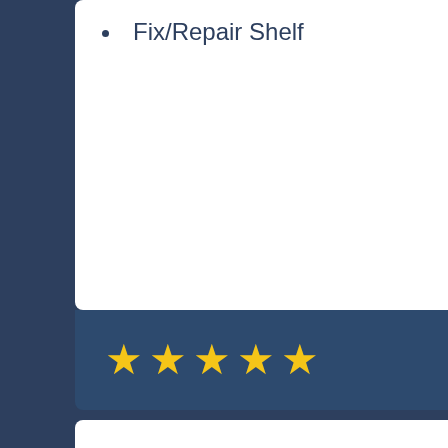Fix/Repair Shelf
★★★★★  60615
James P.
August 22, 2022
Joe is always great! Exceptional